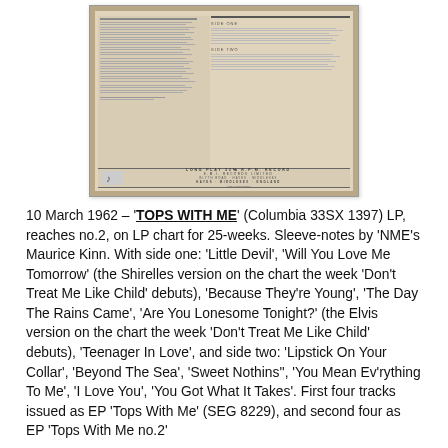[Figure (photo): Photograph of the back cover of a vinyl LP record sleeve for 'Tops With Me' (Columbia 33SX 1397), showing track listing, sleeve notes, and EMI Records Limited label information at the bottom.]
10 March 1962 – 'TOPS WITH ME' (Columbia 33SX 1397) LP, reaches no.2, on LP chart for 25-weeks. Sleeve-notes by 'NME's Maurice Kinn. With side one: 'Little Devil', 'Will You Love Me Tomorrow' (the Shirelles version on the chart the week 'Don't Treat Me Like Child' debuts), 'Because They're Young', 'The Day The Rains Came', 'Are You Lonesome Tonight?' (the Elvis version on the chart the week 'Don't Treat Me Like Child' debuts), 'Teenager In Love', and side two: 'Lipstick On Your Collar', 'Beyond The Sea', 'Sweet Nothins'', 'You Mean Ev'rything To Me', 'I Love You', 'You Got What It Takes'. First four tracks issued as EP 'Tops With Me' (SEG 8229), and second four as EP 'Tops With Me no.2'